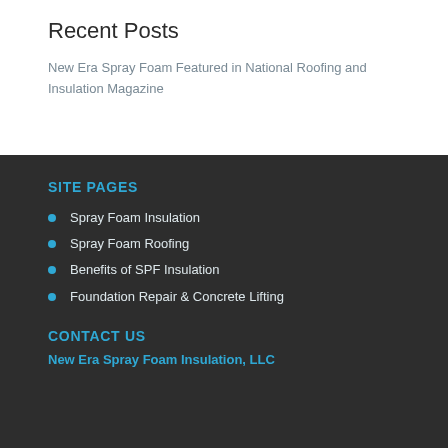Recent Posts
New Era Spray Foam Featured in National Roofing and Insulation Magazine
SITE PAGES
Spray Foam Insulation
Spray Foam Roofing
Benefits of SPF Insulation
Foundation Repair & Concrete Lifting
CONTACT US
New Era Spray Foam Insulation, LLC